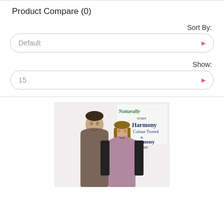Product Compare (0)
Sort By:
Default
Show:
15
[Figure (photo): A man and woman posing together wearing knitwear, with a 'Naturally Harmony Colour Tweed' yarn label visible in the background.]